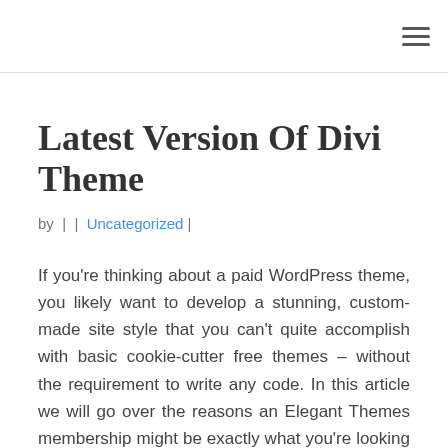[Figure (other): Hamburger menu icon (three horizontal lines) in the top-right corner of the page header]
Latest Version Of Divi Theme
by | | Uncategorized |
If you're thinking about a paid WordPress theme, you likely want to develop a stunning, custom-made site style that you can't quite accomplish with basic cookie-cutter free themes – without the requirement to write any code. In this article we will go over the reasons an Elegant Themes membership might be exactly what you're looking for.